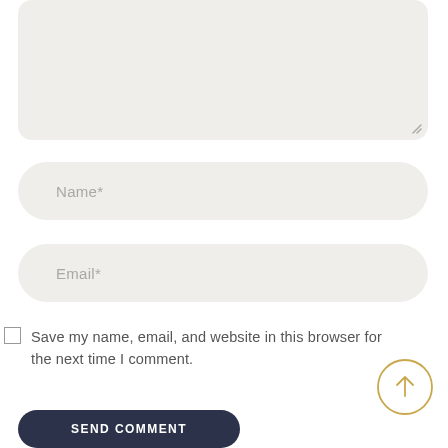[Figure (screenshot): Large rounded textarea input box with light beige/grey background and a resize handle at the bottom-right corner]
Name*
Email*
Save my name, email, and website in this browser for the next time I comment.
[Figure (other): Circular gold/yellow outlined button with an upward arrow icon]
SEND COMMENT